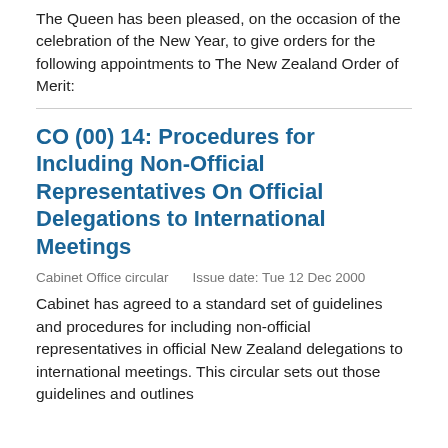The Queen has been pleased, on the occasion of the celebration of the New Year, to give orders for the following appointments to The New Zealand Order of Merit:
CO (00) 14: Procedures for Including Non-Official Representatives On Official Delegations to International Meetings
Cabinet Office circular   Issue date: Tue 12 Dec 2000
Cabinet has agreed to a standard set of guidelines and procedures for including non-official representatives in official New Zealand delegations to international meetings. This circular sets out those guidelines and outlines